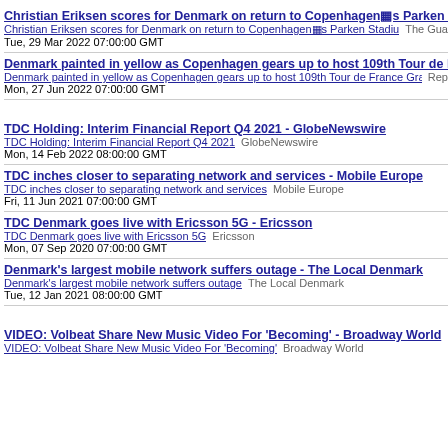Christian Eriksen scores for Denmark on return to Copenhagen's Parken Stadium - T | Christian Eriksen scores for Denmark on return to Copenhagen's Parken Stadium  The Gua | Tue, 29 Mar 2022 07:00:00 GMT
Denmark painted in yellow as Copenhagen gears up to host 109th Tour de France Gran | Denmark painted in yellow as Copenhagen gears up to host 109th Tour de France Grand  Rep | Mon, 27 Jun 2022 07:00:00 GMT
TDC Holding: Interim Financial Report Q4 2021 - GlobeNewswire | TDC Holding: Interim Financial Report Q4 2021  GlobeNewswire | Mon, 14 Feb 2022 08:00:00 GMT
TDC inches closer to separating network and services - Mobile Europe | TDC inches closer to separating network and services  Mobile Europe | Fri, 11 Jun 2021 07:00:00 GMT
TDC Denmark goes live with Ericsson 5G - Ericsson | TDC Denmark goes live with Ericsson 5G  Ericsson | Mon, 07 Sep 2020 07:00:00 GMT
Denmark's largest mobile network suffers outage - The Local Denmark | Denmark's largest mobile network suffers outage  The Local Denmark | Tue, 12 Jan 2021 08:00:00 GMT
VIDEO: Volbeat Share New Music Video For 'Becoming' - Broadway World | VIDEO: Volbeat Share New Music Video For 'Becoming'  Broadway World